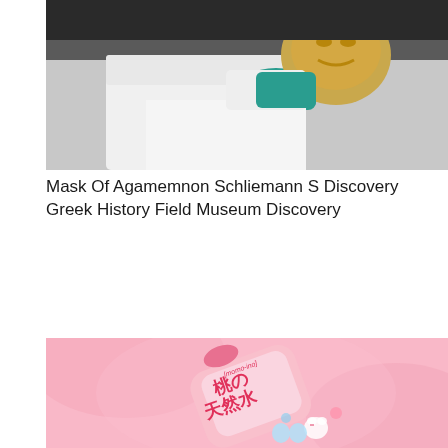[Figure (photo): A person in a white lab coat and teal gloves handling a golden ceremonial mask or artifact.]
Mask Of Agamemnon Schliemann S Discovery Greek History Field Museum Discovery
[Figure (photo): A pink Japanese water bottle with Hello Kitty and other Sanrio characters, labeled 'momo-iro' and Japanese text meaning 'Peach Natural Water', set against a pink silky background.]